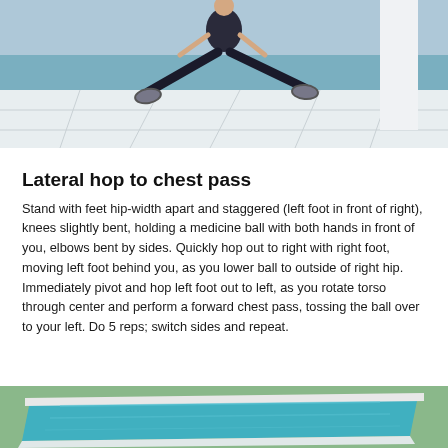[Figure (photo): Person performing a lateral hop exercise outdoors on a white rooftop terrace with ocean visible in the background. The person is wearing dark shorts and athletic shoes, legs spread wide in a jumping stance.]
Lateral hop to chest pass
Stand with feet hip-width apart and staggered (left foot in front of right), knees slightly bent, holding a medicine ball with both hands in front of you, elbows bent by sides. Quickly hop out to right with right foot, moving left foot behind you, as you lower ball to outside of right hip. Immediately pivot and hop left foot out to left, as you rotate torso through center and perform a forward chest pass, tossing the ball over to your left. Do 5 reps; switch sides and repeat.
[Figure (photo): Partial view of an outdoor swimming pool with turquoise water, surrounded by grass and a white tile surround, photographed from above.]